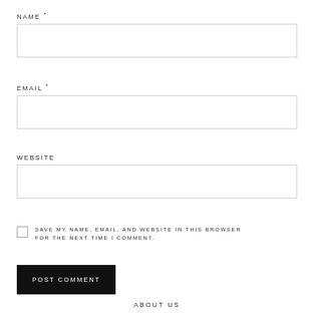NAME *
[Figure (other): Empty text input field for Name]
EMAIL *
[Figure (other): Empty text input field for Email]
WEBSITE
[Figure (other): Empty text input field for Website]
SAVE MY NAME, EMAIL, AND WEBSITE IN THIS BROWSER FOR THE NEXT TIME I COMMENT.
POST COMMENT
ABOUT US